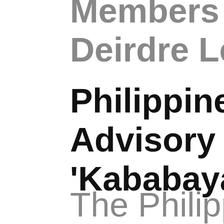Members in L... Deirdre Levy R...
Philippine Com... Advisory Amid... 'Kababayan' in...
The Philippine... York advises th...